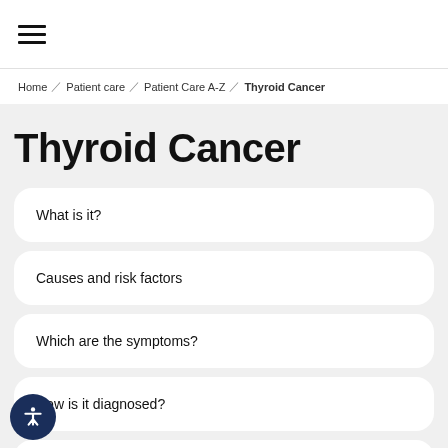≡ (hamburger menu)
Home / Patient care / Patient Care A-Z / Thyroid Cancer
Thyroid Cancer
What is it?
Causes and risk factors
Which are the symptoms?
How is it diagnosed?
How is it treated?